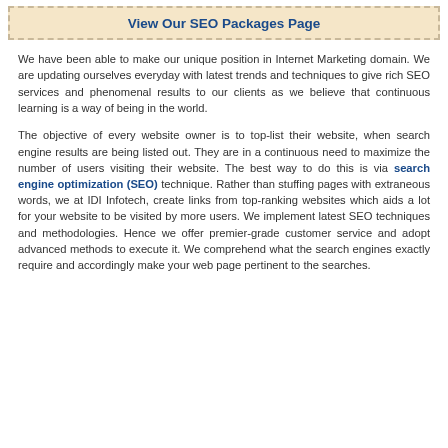View Our SEO Packages Page
We have been able to make our unique position in Internet Marketing domain. We are updating ourselves everyday with latest trends and techniques to give rich SEO services and phenomenal results to our clients as we believe that continuous learning is a way of being in the world.
The objective of every website owner is to top-list their website, when search engine results are being listed out. They are in a continuous need to maximize the number of users visiting their website. The best way to do this is via search engine optimization (SEO) technique. Rather than stuffing pages with extraneous words, we at IDI Infotech, create links from top-ranking websites which aids a lot for your website to be visited by more users. We implement latest SEO techniques and methodologies. Hence we offer premier-grade customer service and adopt advanced methods to execute it. We comprehend what the search engines exactly require and accordingly make your web page pertinent to the searches.